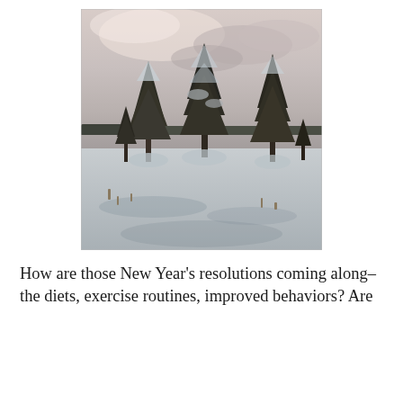[Figure (photo): Winter landscape photograph showing snow-covered ground with several tall pine/spruce trees dusted in snow, set against an overcast sky with muted pinkish-grey clouds. A forested treeline is visible in the background on the left.]
How are those New Year's resolutions coming along– the diets, exercise routines, improved behaviors? Are